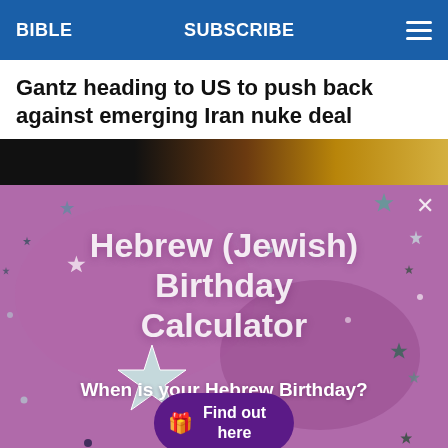BIBLE   SUBSCRIBE
Gantz heading to US to push back against emerging Iran nuke deal
[Figure (photo): Partial photo strip showing a dark to golden-brown gradient image, likely a person, partially visible behind the ad overlay.]
[Figure (infographic): Hebrew (Jewish) Birthday Calculator advertisement overlay on a purple/mauve background with star decorations. Text reads: 'Hebrew (Jewish) Birthday Calculator', 'When is your Hebrew Birthday?', and a button 'Find out here' with a gift icon.]